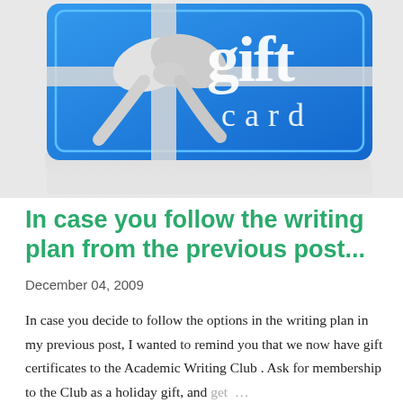[Figure (photo): A blue gift card with a white ribbon bow on the front, with the words 'gift card' written in large white letters on the blue background. The card is shown at an angle with a slight reflection below it.]
In case you follow the writing plan from the previous post...
December 04, 2009
In case you decide to follow the options in the writing plan in my previous post, I wanted to remind you that we now have gift certificates to the Academic Writing Club . Ask for membership to the Club as a holiday gift, and get ...